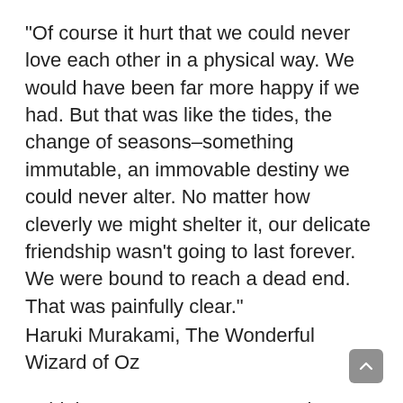“Of course it hurt that we could never love each other in a physical way. We would have been far more happy if we had. But that was like the tides, the change of seasons–something immutable, an immovable destiny we could never alter. No matter how cleverly we might shelter it, our delicate friendship wasn’t going to last forever. We were bound to reach a dead end. That was painfully clear.”
Haruki Murakami, The Wonderful Wizard of Oz
“I think you are wrong to want a heart. It makes most people unhappy. If you only knew it, you are in luck not to have a heart.”
L. Frank Baum, The Wise Man’s Fear